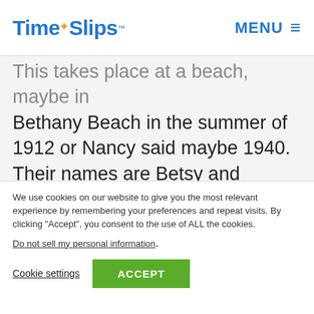TimeSlips™ MENU ≡
This takes place at a beach, maybe in Bethany Beach in the summer of 1912 or Nancy said maybe 1940. Their names are Betsy and Hannah. They are friends and they met at school and have been friends for many years. They look like they are attending college and they are studying
We use cookies on our website to give you the most relevant experience by remembering your preferences and repeat visits. By clicking "Accept", you consent to the use of ALL the cookies.
Do not sell my personal information.